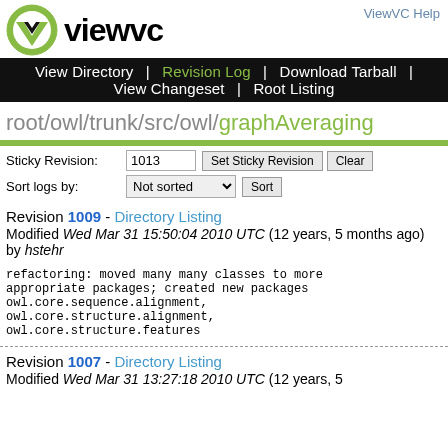[Figure (logo): ViewVC logo with green checkmark circle and bold 'viewvc' text]
ViewVC Help
View Directory | Revision Log | Download Tarball | View Changeset | Root Listing
root/owl/trunk/src/owl/graphAveraging
Sticky Revision: 1013  Set Sticky Revision  Clear
Sort logs by: Not sorted  Sort
Revision 1009 - Directory Listing
Modified Wed Mar 31 15:50:04 2010 UTC (12 years, 5 months ago) by hstehr
refactoring: moved many many classes to more appropriate packages; created new packages owl.core.sequence.alignment, owl.core.structure.alignment, owl.core.structure.features
Revision 1007 - Directory Listing
Modified Wed Mar 31 13:27:18 2010 UTC (12 years, 5